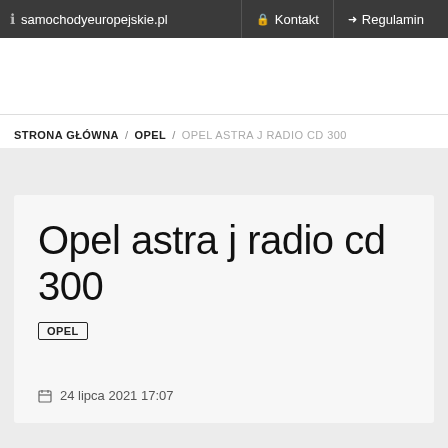samochodyeuropejskie.pl  Kontakt  Regulamin
STRONA GŁÓWNA / OPEL / OPEL ASTRA J RADIO CD 300
Opel astra j radio cd 300
OPEL
24 lipca 2021 17:07